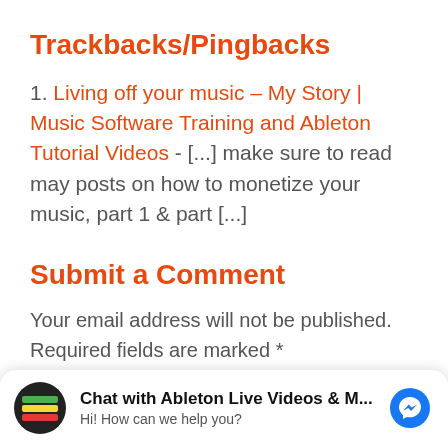Trackbacks/Pingbacks
1. Living off your music – My Story | Music Software Training and Ableton Tutorial Videos - [...] make sure to read may posts on how to monetize your music, part 1 & part [...]
Submit a Comment
Your email address will not be published. Required fields are marked *
Comment *
Chat with Ableton Live Videos & M... Hi! How can we help you?